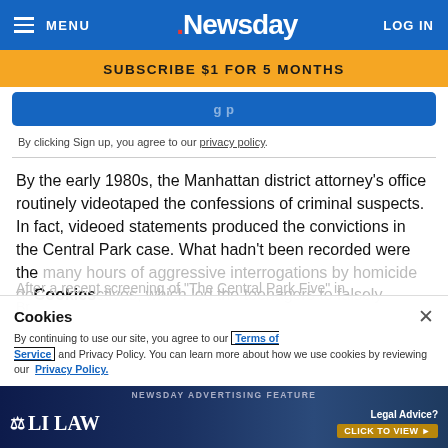MENU | Newsday | LOG IN
SUBSCRIBE $1 FOR 5 MONTHS
By clicking Sign up, you agree to our privacy policy.
By the early 1980s, the Manhattan district attorney's office routinely videotaped the confessions of criminal suspects. In fact, videoed statements produced the convictions in the Central Park case. What hadn't been recorded were the many hours of aggressive interrogations by homicide detectives, which led the teenagers to falsely confess.
Cookies
By continuing to use our site, you agree to our Terms of Service and Privacy Policy. You can learn more about how we use cookies by reviewing our Privacy Policy.
After a recent screening of "The Central Park Five" in Br...
[Figure (screenshot): LI LAW advertisement bar at bottom of page with legal advice prompt and click to view button]